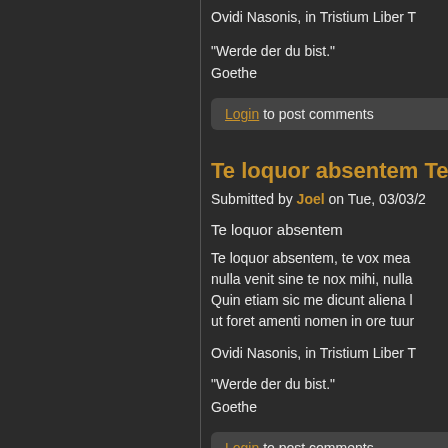Ovidi Nasonis, in Tristium Liber T
"Werde der du bist."
Goethe
Login to post comments
Te loquor absentem Te loq
Submitted by Joel on Tue, 03/03/2
Te loquor absentem
Te loquor absentem, te vox mea
nulla venit sine te nox mihi, nulla
Quin etiam sic me dicunt aliena l
ut foret amenti nomen in ore tuur
Ovidi Nasonis, in Tristium Liber T
"Werde der du bist."
Goethe
Login to post comments